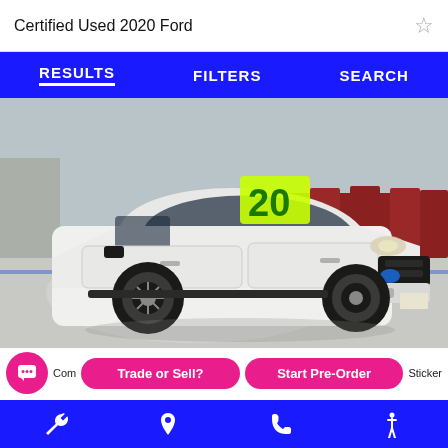Certified Used 2020 Ford
[Figure (screenshot): Navigation bar with RESULTS, FILTERS, SEARCH tabs on blue background]
[Figure (photo): Photo of a white 2020 Ford EcoSport SUV on a parking lot/rooftop, with green '20' sticker on windshield]
Trade or Sell?
Start Pre-Order
Sticker
Bottom navigation bar with wrench, location pin, phone, and accessibility icons